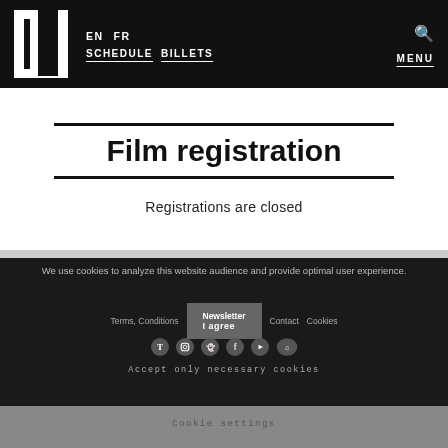EN  FR  SCHEDULE  BILLETS  MENU
Film registration
Registrations are closed
We use cookies to analyze this website audience and provide optimal user experience.
Terms, Conditions  Newsletter  I agree  Contact  Cookies
Accept only necessary cookies
Cookie settings